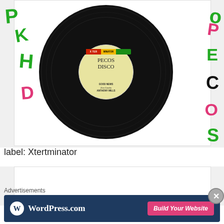[Figure (photo): A 7-inch vinyl record on white sleeve with 'Xtertminator' label. Handwritten 'PECOS DISCO' on label center. Song title 'GOOD NEWS' by Anthony Mills visible. Colorful handwritten letters K, H, D on left sleeve and P, E, C, O, S on right sleeve in green/red/pink.]
label: Xtertminator
[Figure (photo): Partial view of another vinyl record on sleeve with handwritten letters RVIS, A on left and DISC, O on right in various colors green, pink, black.]
Advertisements
[Figure (screenshot): WordPress.com advertisement banner with dark blue background, WordPress logo and text, and pink 'Build Your Website' button.]